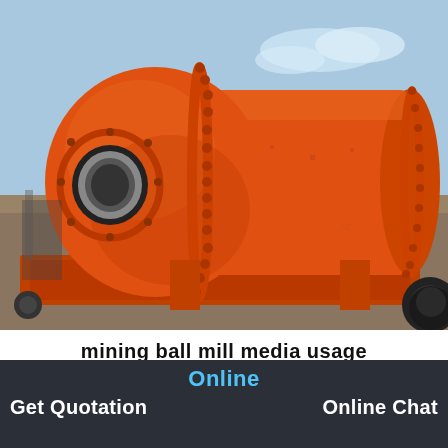[Figure (photo): Large orange industrial ball mill machine sitting on a base outdoors. The mill is a large horizontal cylindrical drum painted bright orange with bolted flanges. It has a circular opening/port on the left end. The background shows a pale blue sky and some structures.]
mining ball mill media usage
[Figure (other): Broken/missing image icon (small thumbnail placeholder)]
Online
Get Quotation    Online Chat